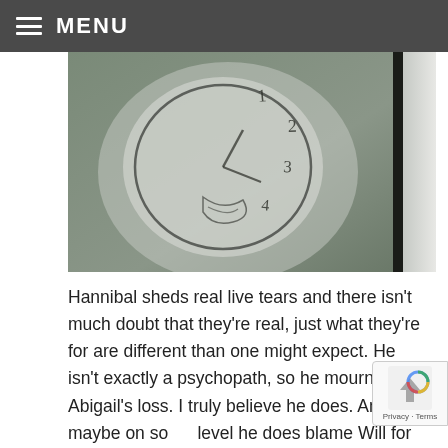≡ MENU
[Figure (photo): A close-up photograph of a hand-drawn clock face on white paper, drawn roughly with numbers 1, 2, 3, 4 visible, set against a dark background with a black vertical bar on the right side.]
Hannibal sheds real live tears and there isn't much doubt that they're real, just what they're for are different than one might expect. He isn't exactly a psychopath, so he mourns Abigail's loss. I truly believe he does. And maybe on some level he does blame Will for having to kill her, but he still hasn't given up on Will. And I don't think he has. Just, you